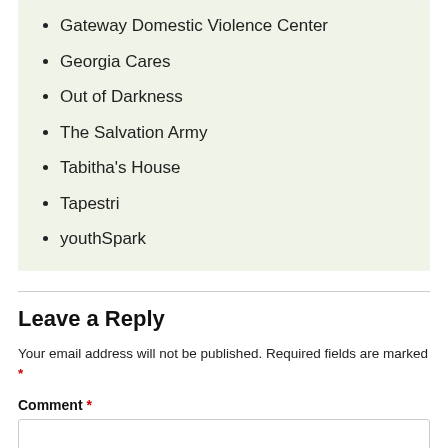Gateway Domestic Violence Center
Georgia Cares
Out of Darkness
The Salvation Army
Tabitha's House
Tapestri
youthSpark
Leave a Reply
Your email address will not be published. Required fields are marked *
Comment *